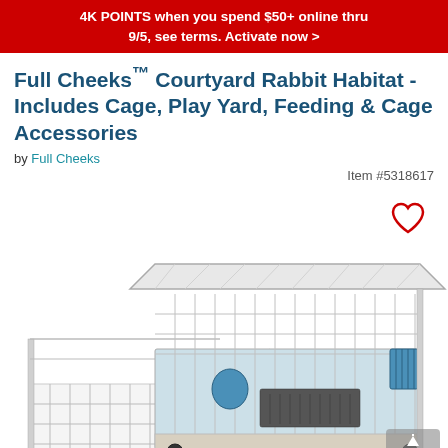4K POINTS when you spend $50+ online thru 9/5, see terms. Activate now >
Full Cheeks™ Courtyard Rabbit Habitat - Includes Cage, Play Yard, Feeding & Cage Accessories
by Full Cheeks
Item #5318617
[Figure (photo): Product photo of Full Cheeks Courtyard Rabbit Habitat showing a white wire cage with blue interior accessories, a ramp, and an attached white wire play yard enclosure. A 'top' scroll button is visible in the bottom right corner.]